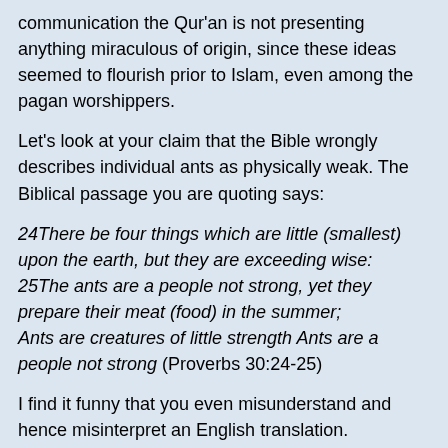communication the Qur'an is not presenting anything miraculous of origin, since these ideas seemed to flourish prior to Islam, even among the pagan worshippers.
Let's look at your claim that the Bible wrongly describes individual ants as physically weak. The Biblical passage you are quoting says:
24There be four things which are little (smallest) upon the earth, but they are exceeding wise:
25The ants are a people not strong, yet they prepare their meat (food) in the summer;
Ants are creatures of little strength Ants are a people not strong (Proverbs 30:24-25)
I find it funny that you even misunderstand and hence misinterpret an English translation.
Firstly, the statement that 'ants are a people not strong' does not refer to individual ants but the ants as a community.
The Hebrew word for 'people' is 'am' which means nation or